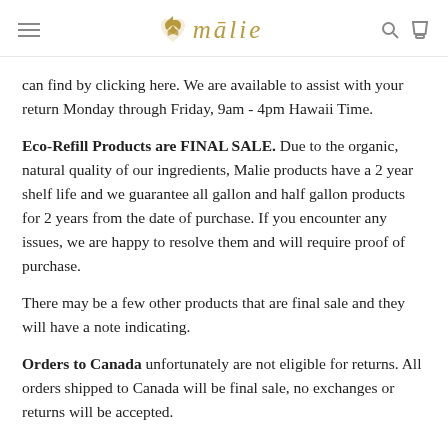mālie
can find by clicking here. We are available to assist with your return Monday through Friday, 9am - 4pm Hawaii Time.
Eco-Refill Products are FINAL SALE. Due to the organic, natural quality of our ingredients, Malie products have a 2 year shelf life and we guarantee all gallon and half gallon products for 2 years from the date of purchase. If you encounter any issues, we are happy to resolve them and will require proof of purchase.
There may be a few other products that are final sale and they will have a note indicating.
Orders to Canada unfortunately are not eligible for returns. All orders shipped to Canada will be final sale, no exchanges or returns will be accepted.